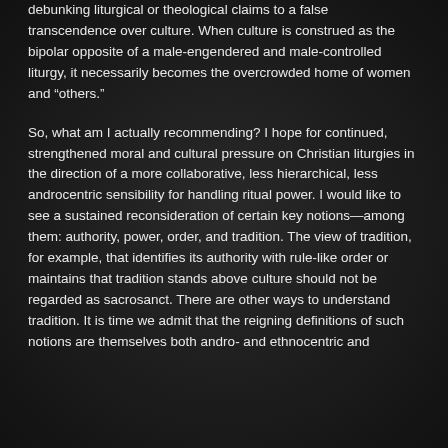debunking liturgical or theological claims to a false transcendence over culture. When culture is construed as the bipolar opposite of a male-engendered and male-controlled liturgy, it necessarily becomes the overcrowded home of women and “others.”
So, what am I actually recommending? I hope for continued, strengthened moral and cultural pressure on Christian liturgies in the direction of a more collaborative, less hierarchical, less androcentric sensibility for handling ritual power. I would like to see a sustained reconsideration of certain key notions—among them: authority, power, order, and tradition. The view of tradition, for example, that identifies its authority with rule-like order or maintains that tradition stands above culture should not be regarded as sacrosanct. There are other ways to understand tradition. It is time we admit that the reigning definitions of such notions are themselves both andro- and ethnocentric and